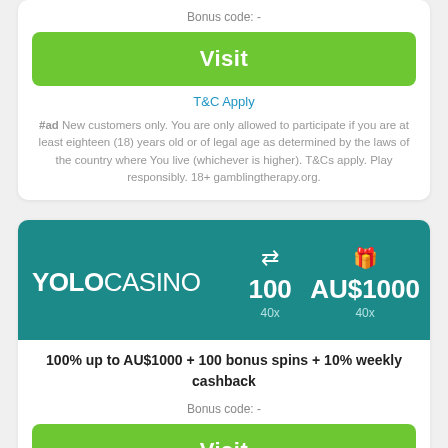Bonus code: -
Visit
T&C Apply
#ad New customers only. You are only allowed to participate if you are at least eighteen (18) years old or of legal age as determined by the laws of the country where You live (whichever is higher). T&Cs apply. Play responsibly. 18+ gamblingtherapy.org.
[Figure (infographic): YOLO Casino banner with teal background showing logo, 100 free spins (40x wagering) and AU$1000 bonus (40x wagering)]
100% up to AU$1000 + 100 bonus spins + 10% weekly cashback
Bonus code: -
Visit